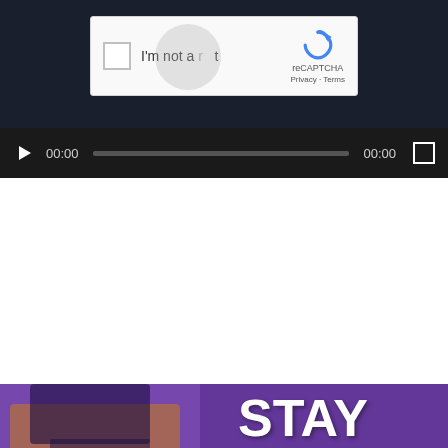[Figure (screenshot): reCAPTCHA widget with checkbox labeled 'I'm not a robot' and reCAPTCHA logo with Privacy and Terms links, overlaid on a video player with dark navy background]
[Figure (screenshot): Video player controls bar showing play button, 00:00 timestamp, progress bar, 00:00 end time, and fullscreen button on dark background]
[Figure (illustration): Advertisement for GV Wire News App showing woman in yellow jacket holding phone on left, purple background with news grid on right, bold text 'STAY WIRED TO THE VALLEY.' with 'WIRED' in orange, bottom black bar with 'THE GV WIRE NEWS APP' and 'TOP LOCAL, NATIONAL & WORLD NEWS, ANYTIME']